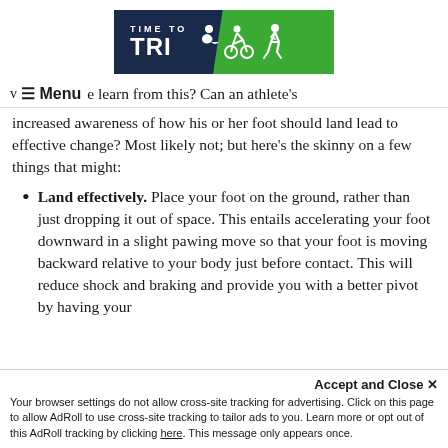[Figure (logo): Time to Tri logo with dark navy and green parallelogram shape, white text 'TIME TO TRI' with swimming, cycling, and running icons]
≡ Menu  e learn from this? Can an athlete's
increased awareness of how his or her foot should land lead to effective change? Most likely not; but here's the skinny on a few things that might:
Land effectively. Place your foot on the ground, rather than just dropping it out of space. This entails accelerating your foot downward in a slight pawing move so that your foot is moving backward relative to your body just before contact. This will reduce shock and braking and provide you with a better pivot by having your contact point close to your center...
Accept and Close ✕
Your browser settings do not allow cross-site tracking for advertising. Click on this page to allow AdRoll to use cross-site tracking to tailor ads to you. Learn more or opt out of this AdRoll tracking by clicking here. This message only appears once.